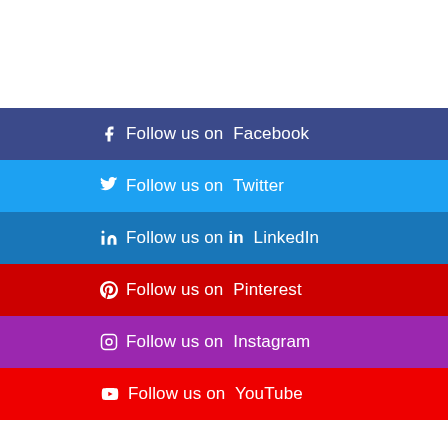Follow us on Facebook
Follow us on Twitter
Follow us on LinkedIn
Follow us on Pinterest
Follow us on Instagram
Follow us on YouTube
Recent Articles
Marvel Studios’ Avengers: Endgame |